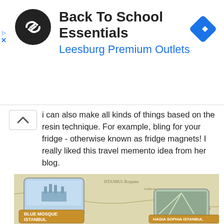[Figure (logo): Ad banner: Back To School Essentials at Leesburg Premium Outlets with circular logo and navigation diamond icon]
i can also make all kinds of things based on the resin technique. For example, bling for your fridge - otherwise known as fridge magnets! I really liked this travel memento idea from her blog.
[Figure (photo): Photo of resin fridge magnets on a map background showing Istanbul area, with two magnet tags labeled 'BLUE MOSQUE ISTANBUL' and 'HAGIA SOPHIA ISTANBUL']